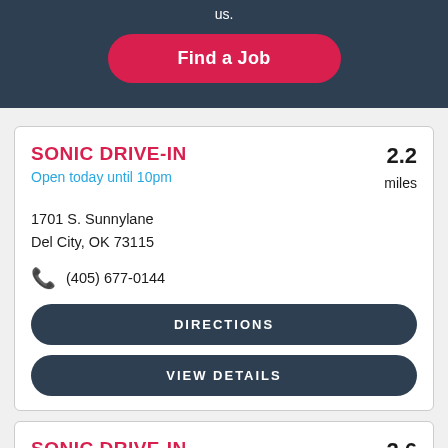us.
Find a Job
SONIC DRIVE-IN
Open today until 10pm
2.2 miles
1701 S. Sunnylane
Del City, OK 73115
(405) 677-0144
DIRECTIONS
VIEW DETAILS
SONIC DRIVE-IN
Open today until 10pm
2.6